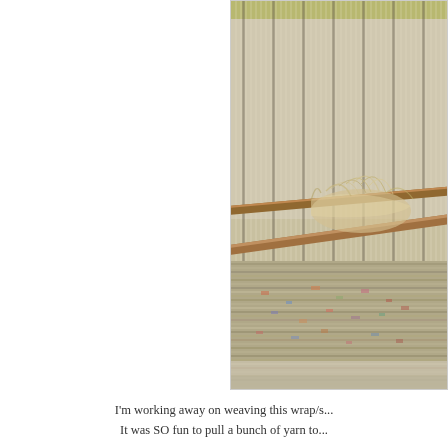[Figure (photo): Close-up photograph of a weaving loom with warp threads stretched vertically, a wooden stick/sword weaving tool inserted horizontally, and partially woven fabric visible at the bottom with colorful yarn patterns. The loom shows the interplay of threads during active weaving.]
I'm working away on weaving this wrap/s... It was SO fun to pull a bunch of yarn to...